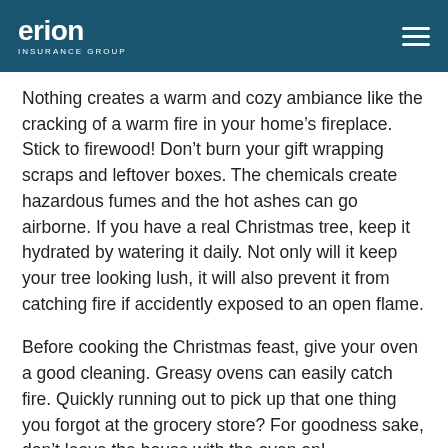erion INSURANCE GROUP
Nothing creates a warm and cozy ambiance like the cracking of a warm fire in your home’s fireplace. Stick to firewood! Don’t burn your gift wrapping scraps and leftover boxes. The chemicals create hazardous fumes and the hot ashes can go airborne. If you have a real Christmas tree, keep it hydrated by watering it daily. Not only will it keep your tree looking lush, it will also prevent it from catching fire if accidently exposed to an open flame.
Before cooking the Christmas feast, give your oven a good cleaning. Greasy ovens can easily catch fire. Quickly running out to pick up that one thing you forgot at the grocery store? For goodness sake, don’t leave the house with the oven on!